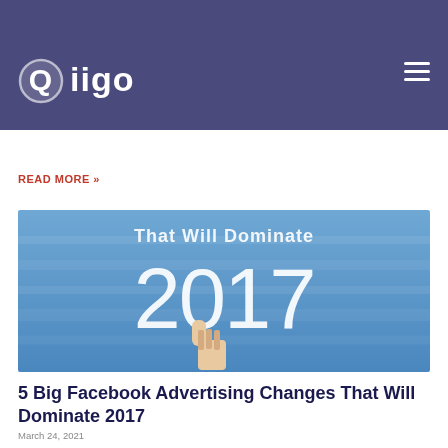August 26, 2021
Brand consistency is powerful. By maintaining brand consistency, a company can project a uniform image across various platforms and at different touchpoints, instilling confidence in
READ MORE »
[Figure (photo): Blue background image with large white text reading 'That Will Dominate 2017' and a thumbs-up hand gesture at bottom center]
5 Big Facebook Advertising Changes That Will Dominate 2017
March 24, 2021